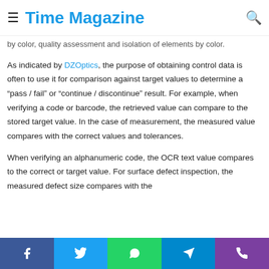Time Magazine
by color, quality assessment and isolation of elements by color.
As indicated by DZOptics, the purpose of obtaining control data is often to use it for comparison against target values to determine a “pass / fail” or “continue / discontinue” result. For example, when verifying a code or barcode, the retrieved value can compare to the stored target value. In the case of measurement, the measured value compares with the correct values and tolerances.
When verifying an alphanumeric code, the OCR text value compares to the correct or target value. For surface defect inspection, the measured defect size compares with the
Facebook | Twitter | WhatsApp | Telegram | Phone